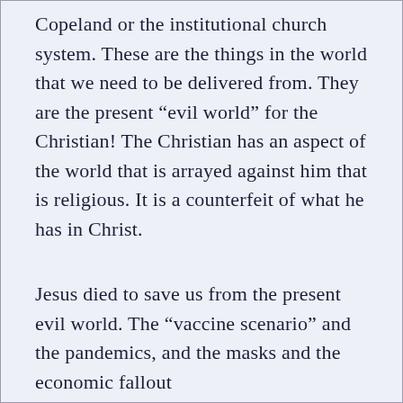Copeland or the institutional church system. These are the things in the world that we need to be delivered from. They are the present “evil world” for the Christian! The Christian has an aspect of the world that is arrayed against him that is religious. It is a counterfeit of what he has in Christ.
Jesus died to save us from the present evil world. The “vaccine scenario” and the pandemics, and the masks and the economic fallout